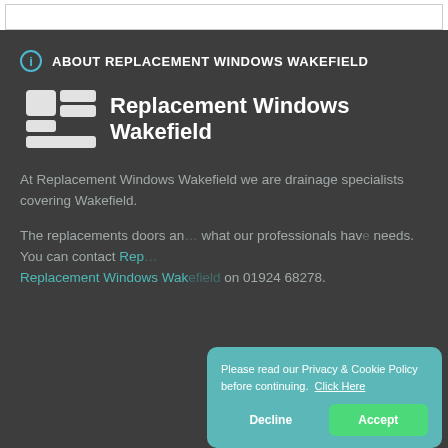ABOUT REPLACEMENT WINDOWS WAKEFIELD
[Figure (logo): Replacement Windows Wakefield logo: stylized grid/window pane icon in white next to bold white text 'Replacement Windows Wakefield']
At Replacement Windows Wakefield we are drainage specialists covering Wakefield.
The replacements doors and what our professionals have needs. You can contact Replacement Windows Wakefield on 01924 668278.
Please read our Privacy & Cookie Policy before continuing. Click Here
Decline    Accept